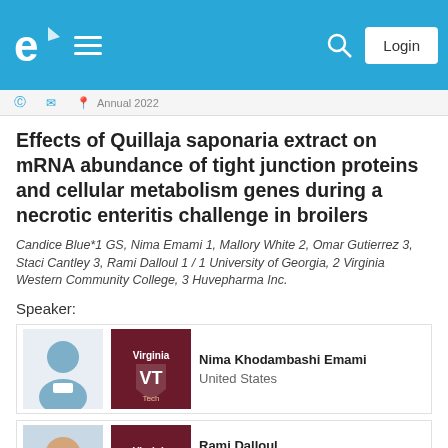[Figure (screenshot): Website navigation bar with logo, hamburger menu, search icon, and Login button on blue background]
Effects of Quillaja saponaria extract on mRNA abundance of tight junction proteins and cellular metabolism genes during a necrotic enteritis challenge in broilers
Candice Blue*1 GS, Nima Emami 1, Mallory White 2, Omar Gutierrez 3, Staci Cantley 3, Rami Dalloul 1 / 1 University of Georgia, 2 Virginia Western Community College, 3 Huvepharma Inc.
Speaker:
[Figure (photo): Speaker profile picture placeholder (blue silhouette) and Virginia Tech logo for Nima Khodambashi Emami]
Nima Khodambashi Emami
United States
[Figure (photo): Speaker photo of Rami Dalloul and Virginia Tech logo]
Rami Dalloul
United States
Associate Professor/ Poultry...
10:45hs    1/24/2022    Room B314